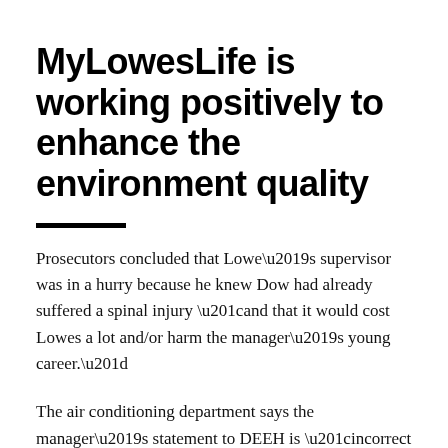MyLowesLife is working positively to enhance the environment quality
Prosecutors concluded that Lowe’s supervisor was in a hurry because he knew Dow had already suffered a spinal injury “and that it would cost Lowes a lot and/or harm the manager’s young career.”
The air conditioning department says the manager’s statement to DEEH is “incorrect or misleading.”